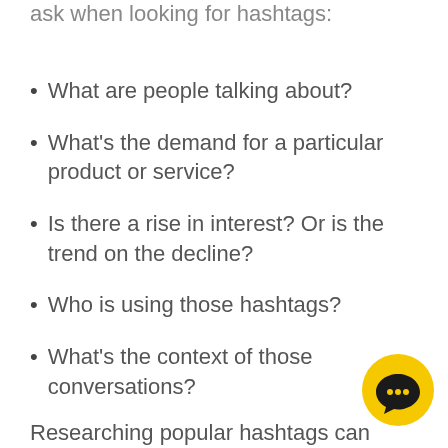ask when looking for hashtags:
What are people talking about?
What's the demand for a particular product or service?
Is there a rise in interest? Or is the trend on the decline?
Who is using those hashtags?
What's the context of those conversations?
Researching popular hashtags can